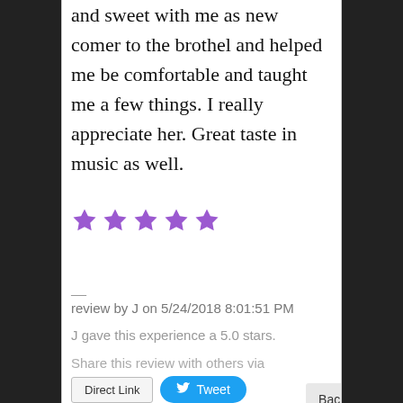...Emma. She was very gentle and sweet with me as new comer to the brothel and helped me be comfortable and taught me a few things. I really appreciate her. Great taste in music as well.
[Figure (other): Five purple star rating icons indicating 5 out of 5 stars]
—
review by J on 5/24/2018 8:01:51 PM
J gave this experience a 5.0 stars.
Share this review with others via
Direct Link   Tweet
Back to Top